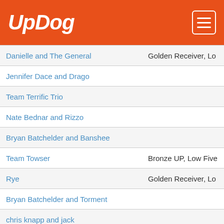UpDog
| Name | Awards |
| --- | --- |
| Danielle and The General | Golden Receiver, Lo |
| Jennifer Dace and Drago |  |
| Team Terrific Trio |  |
| Nate Bednar and Rizzo |  |
| Bryan Batchelder and Banshee |  |
| Team Towser | Bronze UP, Low Five |
| Rye | Golden Receiver, Lo |
| Bryan Batchelder and Torment |  |
| chris knapp and jack |  |
| Jonathan Offi and Gypsy |  |
| Awesome Addie | Bronze UP, Golden R |